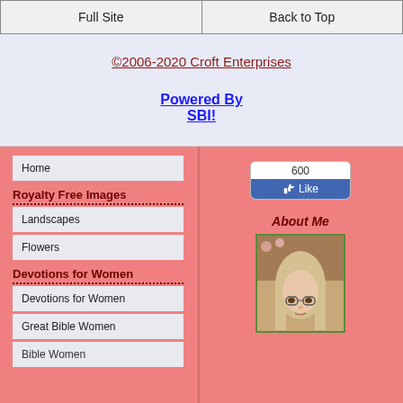Full Site | Back to Top
©2006-2020 Croft Enterprises
Powered By SBI!
Home
Royalty Free Images
Landscapes
Flowers
Devotions for Women
Devotions for Women
Great Bible Women
Bible Women
[Figure (screenshot): Facebook Like button widget showing 600 likes]
About Me
[Figure (photo): Photo of a woman with long blonde/gray hair wearing glasses, outdoors with flowers in background]